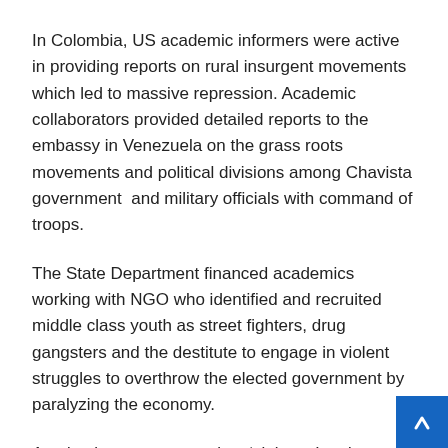In Colombia, US academic informers were active in providing reports on rural insurgent movements which led to massive repression. Academic collaborators provided detailed reports to the embassy in Venezuela on the grass roots movements and political divisions among Chavista government  and military officials with command of troops.
The State Department financed academics working with NGO who identified and recruited middle class youth as street fighters, drug gangsters and the destitute to engage in violent struggles to overthrow the elected government by paralyzing the economy.
Academic reports on regime ‘violence’ and ‘authoritarianism’ served as propaganda fodder for the State Department to impose economic sanctions , impoverishing people, to foment a coup. US academic collaborators enlisted their